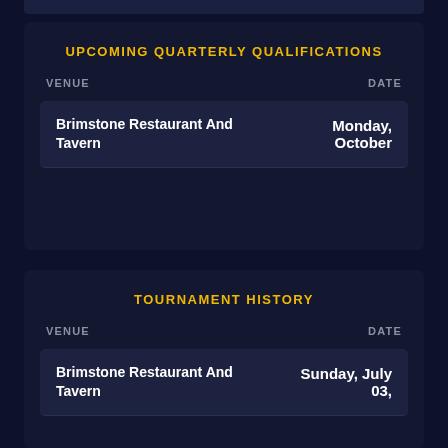UPCOMING QUARTERLY QUALIFICATIONS
| VENUE | DATE |
| --- | --- |
| Brimstone Restaurant And Tavern | Monday, October |
TOURNAMENT HISTORY
| VENUE | DATE |
| --- | --- |
| Brimstone Restaurant And Tavern | Sunday, July 03, |